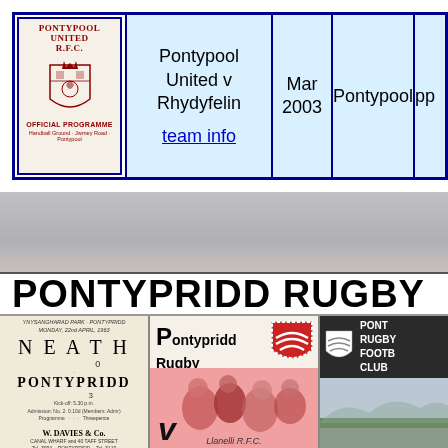| Programme Image | Match | Date | Venue |  |
| --- | --- | --- | --- | --- |
| [Pontypool United RFC Official Programme image] | Pontypool United v Rhydyfelin
team info | Mar 2003 | Pontypool | pp |
[Figure (photo): Background photo of a rugby pitch / field, grey-toned]
PONTYPRIDD RUGBY
[Figure (photo): Old black-and-white Pontypridd rugby programme: Ynysangharad Park - Pontypridd, Monday 22nd April 1963, NEATH 0 v PONTYPRIDD 3, W. Davies & Co. Canal Wharf and 40 Taff Street Pontypridd]
[Figure (photo): Colour Pontypridd Rugby Football Club programme cover with shield logo, players in action, 'v' visible, Llanelli RFC text at bottom]
[Figure (photo): Pontypridd Rugby Football Club modern programme with white shield on dark background, and a landscape photo below]